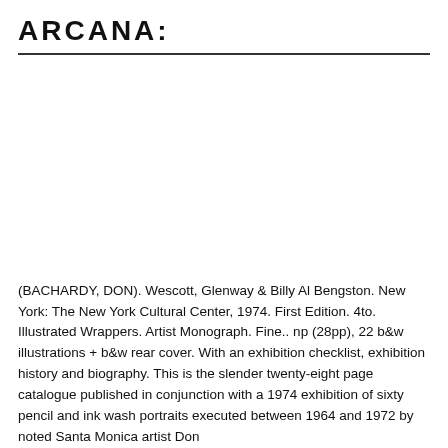ARCANA:
(BACHARDY, DON). Wescott, Glenway & Billy Al Bengston. New York: The New York Cultural Center, 1974. First Edition. 4to. Illustrated Wrappers. Artist Monograph. Fine.. np (28pp), 22 b&w illustrations + b&w rear cover. With an exhibition checklist, exhibition history and biography. This is the slender twenty-eight page catalogue published in conjunction with a 1974 exhibition of sixty pencil and ink wash portraits executed between 1964 and 1972 by noted Santa Monica artist Don